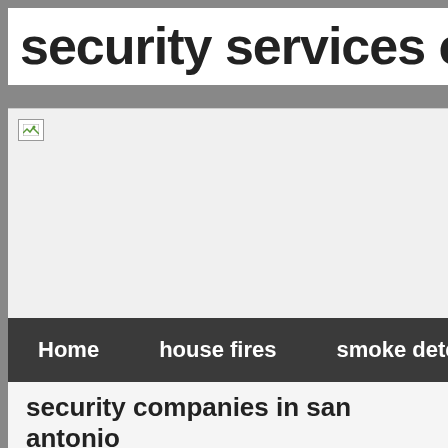security services comp
[Figure (illustration): Broken/missing image placeholder with small icon in top-left corner on a light gray background]
Home    house fires    smoke detector false alarm
security companies in san antonio
Read our full Arlo Pro review. Reasons to BuyExcellent a